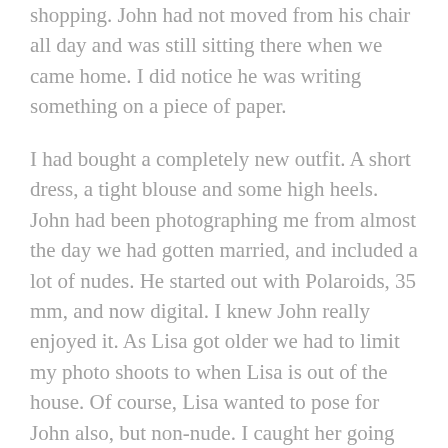shopping. John had not moved from his chair all day and was still sitting there when we came home. I did notice he was writing something on a piece of paper.
I had bought a completely new outfit. A short dress, a tight blouse and some high heels. John had been photographing me from almost the day we had gotten married, and included a lot of nudes. He started out with Polaroids, 35 mm, and now digital. I knew John really enjoyed it. As Lisa got older we had to limit my photo shoots to when Lisa is out of the house. Of course, Lisa wanted to pose for John also, but non-nude. I caught her going through my nude photos when she was about 10. We had a long talk about the photos and about sex. I think she already knew more than I did.
John had finished what he was doing and I told him to get the camera and lights. I came walking in my high heels. John said wow you look good enough to eat. I laughed but noticed Lisa had turned red in the face. I posed for about an hour. Lisa had gone in and changed into her new outfit. She looked so sexy